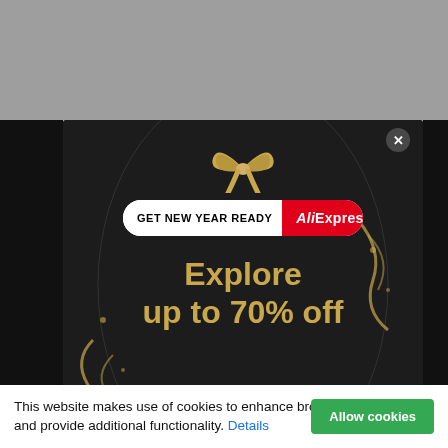[Figure (screenshot): AliExpress popup advertisement with dark background showing a gift bow, 'GET NEW YEAR READY AliExpress' badge, and text 'Explore up to 70% off' in gold text, with gold confetti decorations and an X close button]
This website makes use of cookies to enhance browsing experience and provide additional functionality. Details
Allow cookies